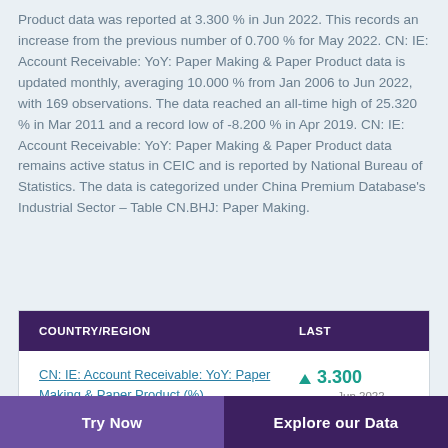Product data was reported at 3.300 % in Jun 2022. This records an increase from the previous number of 0.700 % for May 2022. CN: IE: Account Receivable: YoY: Paper Making & Paper Product data is updated monthly, averaging 10.000 % from Jan 2006 to Jun 2022, with 169 observations. The data reached an all-time high of 25.320 % in Mar 2011 and a record low of -8.200 % in Apr 2019. CN: IE: Account Receivable: YoY: Paper Making & Paper Product data remains active status in CEIC and is reported by National Bureau of Statistics. The data is categorized under China Premium Database's Industrial Sector – Table CN.BHJ: Paper Making.
| COUNTRY/REGION | LAST |
| --- | --- |
| CN: IE: Account Receivable: YoY: Paper Making & Paper Product (%) | ▲ 3.300
Jun 2022 |
Try Now   Explore our Data